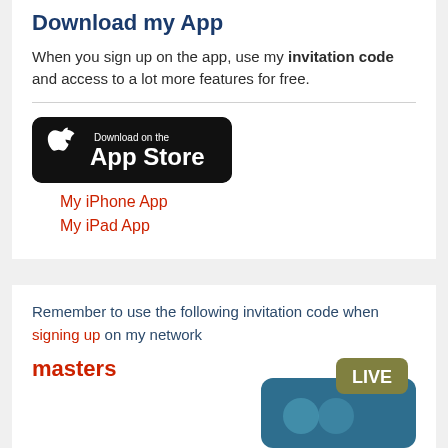Download my App
When you sign up on the app, use my invitation code and access to a lot more features for free.
[Figure (logo): App Store download badge — black rounded rectangle with Apple logo and 'Download on the App Store' text]
My iPhone App
My iPad App
Remember to use the following invitation code when signing up on my network
masters
[Figure (logo): LIVE chat app icon — blue rounded rectangle with speech bubble and 'LIVE' label in olive/green badge]